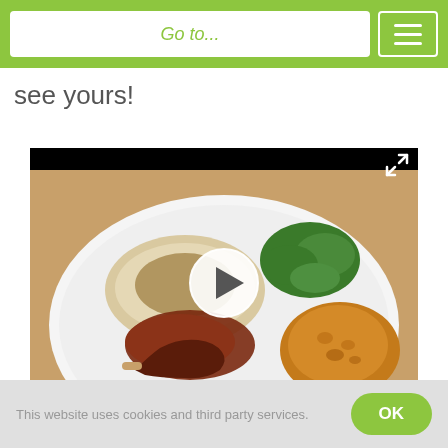Go to...
see yours!
[Figure (screenshot): Video thumbnail showing a plate of vegan drumsticks with mashed potatoes, gravy, and broccoli. A circular play button overlay is centered on the image. An expand icon appears in the top-right corner. A dark caption bar at the bottom reads: Yessica Infante's Vegan Drumsticks | Washed Flour]
Yessica Infante's Vegan Drumsticks | Washed Flour
This website uses cookies and third party services.